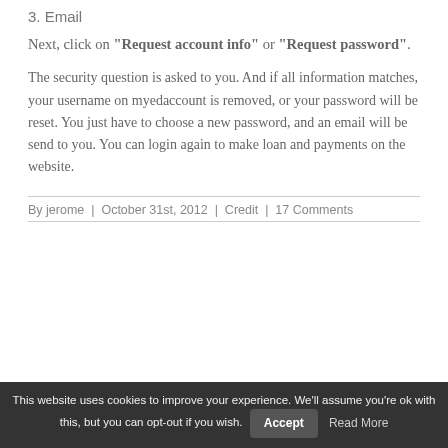3. Email
Next, click on “Request account info” or “Request password”.
The security question is asked to you. And if all information matches, your username on myedaccount is removed, or your password will be reset. You just have to choose a new password, and an email will be send to you. You can login again to make loan and payments on the website.
By jerome | October 31st, 2012 | Credit | 17 Comments
This website uses cookies to improve your experience. We'll assume you're ok with this, but you can opt-out if you wish. Accept Read More